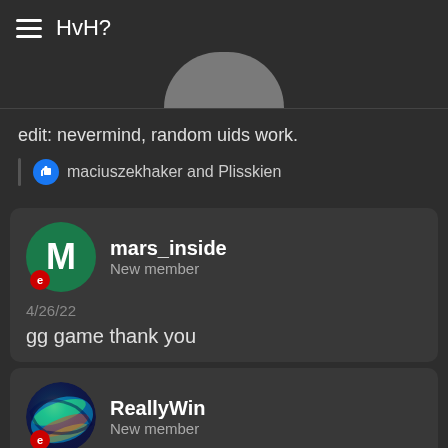HvH?
edit: nevermind, random uids work.
maciuszekhaker and Plisskien
mars_inside
New member
4/26/22
gg game thank you
ReallyWin
New member